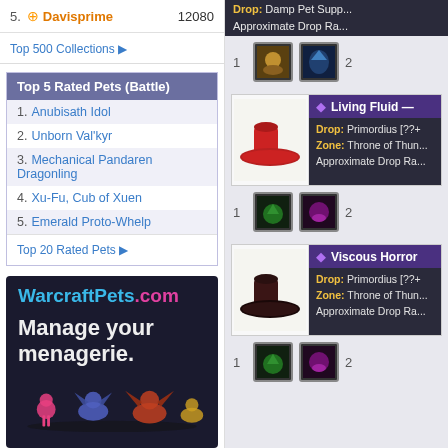5. Davisprime 12080
Top 500 Collections ▶
Top 5 Rated Pets (Battle)
1. Anubisath Idol
2. Unborn Val'kyr
3. Mechanical Pandaren Dragonling
4. Xu-Fu, Cub of Xuen
5. Emerald Proto-Whelp
Top 20 Rated Pets ▶
[Figure (illustration): WarcraftPets.com advertisement banner with text 'Manage your menagerie.' and pet illustrations on dark background]
Drop: Damp Pet Supp...
Approximate Drop Ra...
[Figure (illustration): Two pet ability icons with numbers 1 and 2]
[Figure (illustration): Red hat item image]
Living Fluid —
Drop: Primordius [??+
Zone: Throne of Thun...
Approximate Drop Ra...
[Figure (illustration): Two pet ability icons with numbers 1 and 2]
[Figure (illustration): Dark hat item image]
Viscous Horror
Drop: Primordius [??+
Zone: Throne of Thun...
Approximate Drop Ra...
[Figure (illustration): Two pet ability icons with numbers 1 and 2]